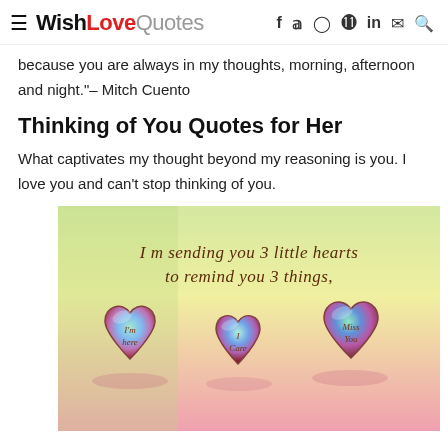≡ WishLoveQuotes  f  𝕪  ◎  ⊕  in  ✉  🔍
because you are always in my thoughts, morning, afternoon and night."– Mitch Cuento
Thinking of You Quotes for Her
What captivates my thought beyond my reasoning is you. I love you and can't stop thinking of you.
[Figure (photo): Three shiny metallic heart-shaped candy pieces on a pastel gradient background (green-yellow to pink). Text above reads: 'I m sending you 3 little hearts to remind you 3 things,' The three hearts are labeled 'I'm here', 'I Care', and 'Miss You'.]